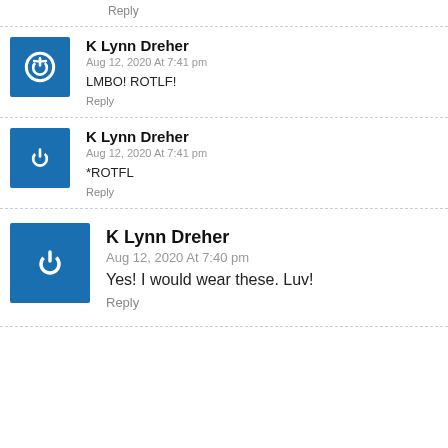Reply
K Lynn Dreher
Aug 12, 2020 At 7:41 pm
LMBO! ROTLF!
Reply
K Lynn Dreher
Aug 12, 2020 At 7:41 pm
*ROTFL
Reply
K Lynn Dreher
Aug 12, 2020 At 7:40 pm
Yes! I would wear these. Luv!
Reply